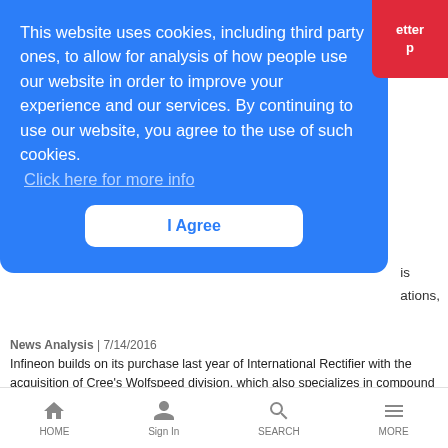[Figure (screenshot): Red button partial visible top right corner with text 'etter' and 'p' (newsletter signup button)]
This website uses cookies, including third party ones, to allow for analysis of how people use our website in order to improve your experience and our services. By continuing to use our website, you agree to the use of such cookies.
Click here for more info
I Agree
is
ations,
News Analysis | 7/14/2016
Infineon builds on its purchase last year of International Rectifier with the acquisition of Cree's Wolfspeed division, which also specializes in compound semiconductors.
Ready, Set, Go! FCC Votes for First 5G Spectrum
HOME  Sign In  SEARCH  MORE